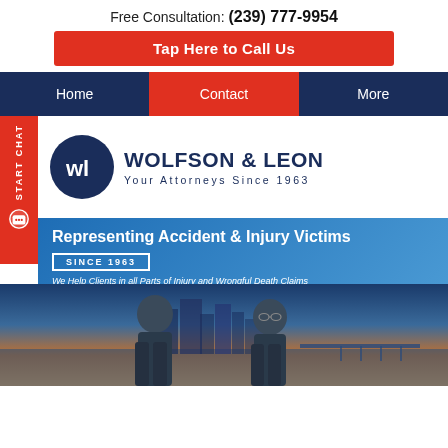Free Consultation: (239) 777-9954
Tap Here to Call Us
Home
Contact
More
[Figure (logo): Wolfson & Leon law firm logo with circular dark blue emblem containing WL initials. Text reads WOLFSON & LEON Your Attorneys Since 1963]
Representing Accident & Injury Victims SINCE 1963 We Help Clients in all Parts of Injury and Wrongful Death Claims
[Figure (photo): Two male attorneys standing in front of a city skyline at sunset with a pier visible in the background]